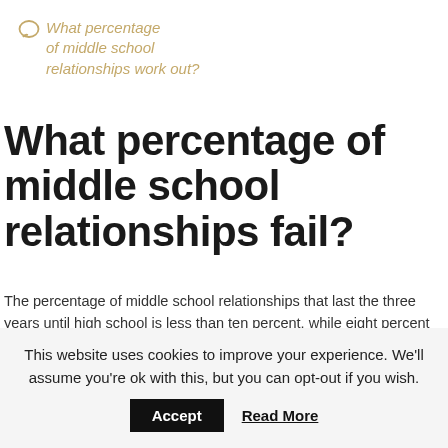What percentage of middle school relationships work out?
What percentage of middle school relationships fail?
The percentage of middle school relationships that last the three years until high school is less than ten percent, while eight percent of high school relationships work until marriage, and only five percent of the relationships that are started in high school lead to marriages that do
This website uses cookies to improve your experience. We'll assume you're ok with this, but you can opt-out if you wish.
Accept  Read More